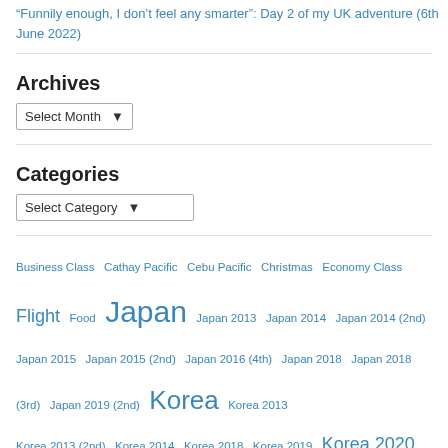“Funnily enough, I don’t feel any smarter”: Day 2 of my UK adventure (6th June 2022)
Archives
Select Month (dropdown)
Categories
Select Category (dropdown)
Business Class  Cathay Pacific  Cebu Pacific  Christmas  Economy Class  Flight  Food  Japan  Japan 2013  Japan 2014  Japan 2014 (2nd)  Japan 2015  Japan 2015 (2nd)  Japan 2016 (4th)  Japan 2018  Japan 2018 (3rd)  Japan 2019 (2nd)  Korea  Korea 2013  Korea 2013 (2nd)  Korea 2014  Korea 2018  Korea 2019  Korea 2020  Lounge  Philippine  Travel